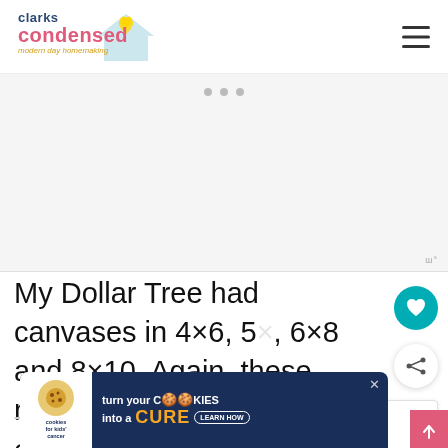clarks condensed — modern day homemaking
[Figure (screenshot): Advertisement placeholder area with gray background and three dots at top center, moat watermark at bottom right]
My Dollar Tree had canvases in 4×6, 5×, 6×8 and 8×10. Again, these may not b available everywhere – but wha
[Figure (infographic): Cookie banner advertisement: 'turn your COOKIES into a CURE LEARN HOW' by cookies for kids cancer]
Th [partial text cut off] rse